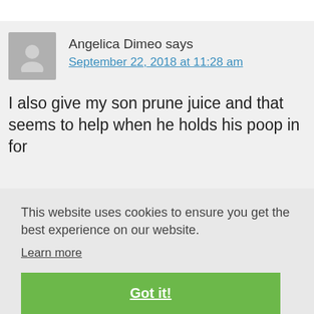Angelica Dimeo says
September 22, 2018 at 11:28 am
I also give my son prune juice and that seems to help when he holds his poop in for
This website uses cookies to ensure you get the best experience on our website.
Learn more
Got it!